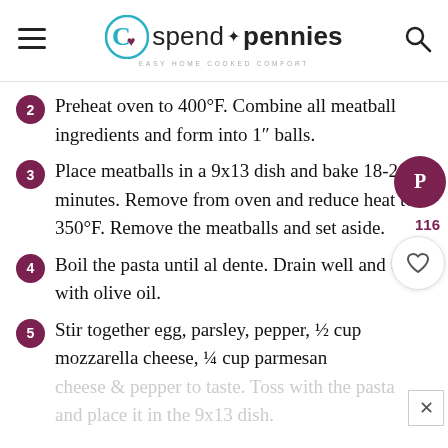spend with pennies — EASY HOME COOKED COMFORT
Preheat oven to 400°F. Combine all meatball ingredients and form into 1" balls.
Place meatballs in a 9x13 dish and bake 18-20 minutes. Remove from oven and reduce heat to 350°F. Remove the meatballs and set aside.
Boil the pasta until al dente. Drain well and toss with olive oil.
Stir together egg, parsley, pepper, ½ cup mozzarella cheese, ¼ cup parmesan cheese & pepper to taste. Toss with the pasta and place it in the 9x13 dish.